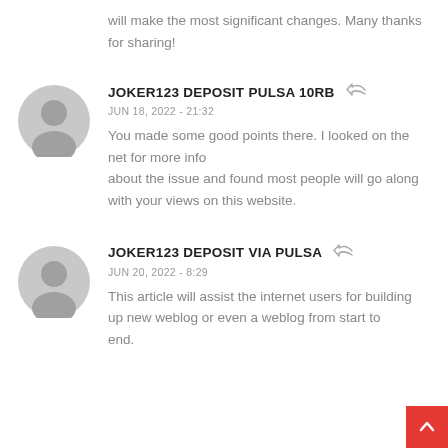will make the most significant changes. Many thanks for sharing!
JOKER123 DEPOSIT PULSA 10RB
JUN 18, 2022 - 21:32
You made some good points there. I looked on the net for more info about the issue and found most people will go along with your views on this website.
JOKER123 DEPOSIT VIA PULSA
JUN 20, 2022 - 8:29
This article will assist the internet users for building up new weblog or even a weblog from start to end.